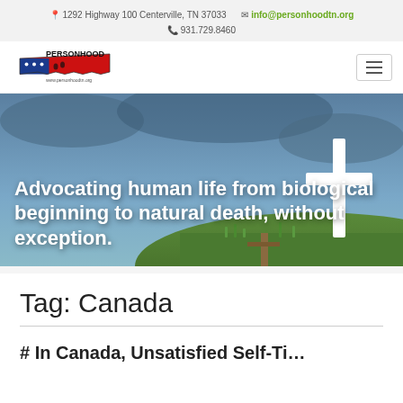1292 Highway 100 Centerville, TN 37033   info@personhoodtn.org   931.729.8460
[Figure (logo): Personhood Tennessee logo with Tennessee state outline in red/blue/white with footprints and text PERSONHOOD and www.personhoodtn.org]
[Figure (photo): Hero banner photo of a white cross on a hill against a dramatic blue-grey cloudy sky with grass at the base, overlaid with white text: Advocating human life from biological beginning to natural death, without exception.]
Advocating human life from biological beginning to natural death, without exception.
Tag: Canada
# Canada is used as a tag label for blog posts